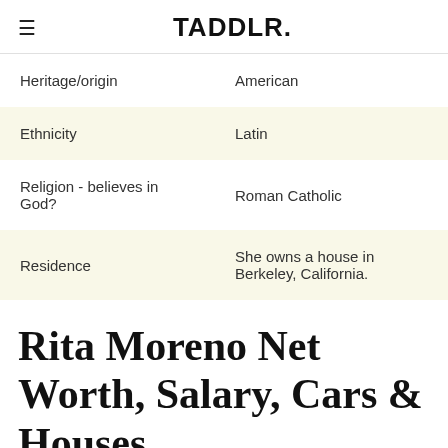TADDLR.
| Heritage/origin | American |
| Ethnicity | Latin |
| Religion - believes in God? | Roman Catholic |
| Residence | She owns a house in Berkeley, California. |
Rita Moreno Net Worth, Salary, Cars & Houses
Rita Moreno is a actress, singer and dancer. Her